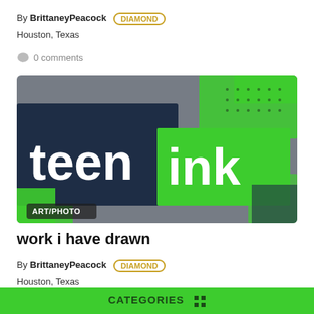By BrittaneyPeacock DIAMOND
Houston, Texas
0 comments
[Figure (logo): Teen Ink logo image with dark navy background showing 'teen' in white bold text and bright green rectangle showing 'ink' in white bold text, with green paint brush strokes and dot patterns. ART/PHOTO label at bottom left.]
work i have drawn
By BrittaneyPeacock DIAMOND
Houston, Texas
CATEGORIES